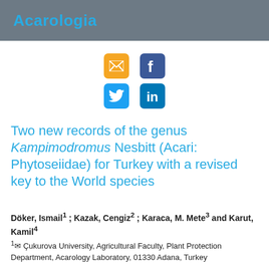Acarologia
[Figure (other): Social sharing icons: email (orange), Facebook (blue), Twitter (light blue), LinkedIn (dark blue)]
Two new records of the genus Kampimodromus Nesbitt (Acari: Phytoseiidae) for Turkey with a revised key to the World species
Döker, Ismail1 ; Kazak, Cengiz2 ; Karaca, M. Mete3 and Karut, Kamil4
1✉ Çukurova University, Agricultural Faculty, Plant Protection Department, Acarology Laboratory, 01330 Adana, Turkey